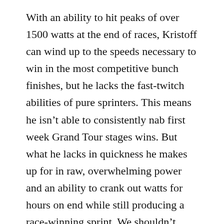With an ability to hit peaks of over 1500 watts at the end of races, Kristoff can wind up to the speeds necessary to win in the most competitive bunch finishes, but he lacks the fast-twitch abilities of pure sprinters. This means he isn't able to consistently nab first week Grand Tour stages wins. But what he lacks in quickness he makes up for in raw, overwhelming power and an ability to crank out watts for hours on end while still producing a race-winning sprint. We shouldn't consider top 10s in an easy-stage bunch sprints a disappointment, we should be impressed that such a diesel power is able to mix it up with the quickest riders on the planet.
For example, according to Velon, Kristoff averaged a